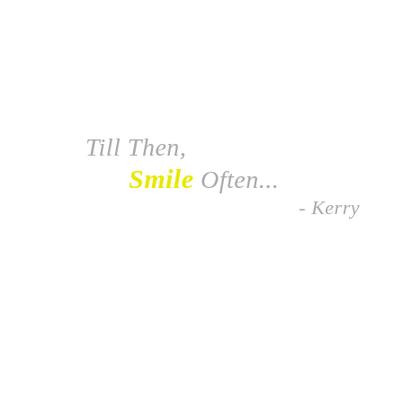Till Then, Smile Often... - Kerry